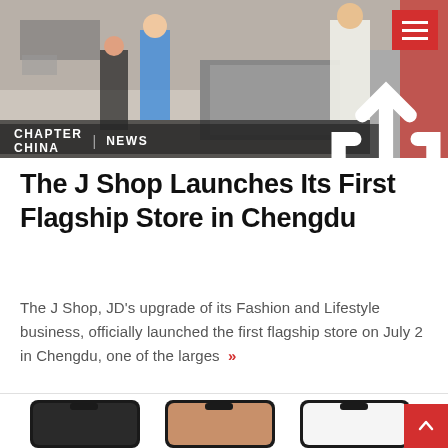[Figure (photo): Header banner photo showing people in a retail store, with overlay bar showing CHAPTER CHINA | NEWS and a share icon, and a red hamburger menu button in top right corner]
The J Shop Launches Its First Flagship Store in Chengdu
The J Shop, JD's upgrade of its Fashion and Lifestyle business, officially launched the first flagship store on July 2 in Chengdu, one of the larges »
[Figure (screenshot): Three smartphone screens showing mobile app interfaces with Chinese text and product images including BVLGARI brand content]